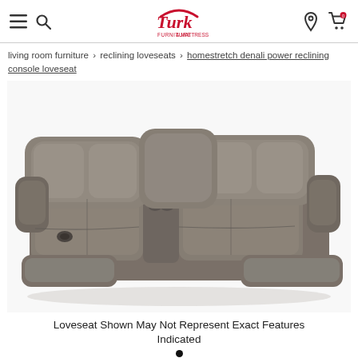Turk Furniture & Mattress — navigation header with hamburger menu, search, logo, location, and cart icons
living room furniture › reclining loveseats › homestretch denali power reclining console loveseat
[Figure (photo): Photo of a grey/charcoal upholstered power reclining console loveseat (Homestretch Denali) shown at an angle, featuring pillow-top backs, center console with cup holders, and partially reclined footrests.]
Loveseat Shown May Not Represent Exact Features Indicated